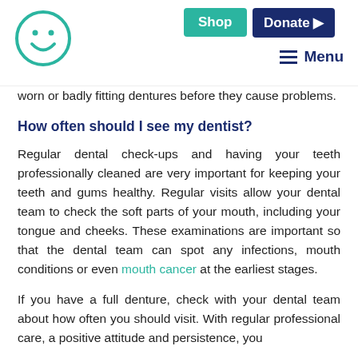Shop | Donate | Menu
worn or badly fitting dentures before they cause problems.
How often should I see my dentist?
Regular dental check-ups and having your teeth professionally cleaned are very important for keeping your teeth and gums healthy. Regular visits allow your dental team to check the soft parts of your mouth, including your tongue and cheeks. These examinations are important so that the dental team can spot any infections, mouth conditions or even mouth cancer at the earliest stages.
If you have a full denture, check with your dental team about how often you should visit. With regular professional care, a positive attitude and persistence, you